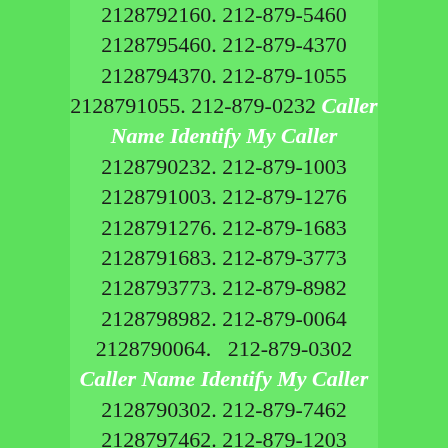2128792160. 212-879-5460 2128795460. 212-879-4370 2128794370. 212-879-1055 2128791055. 212-879-0232 Caller Name Identify My Caller 2128790232. 212-879-1003 2128791003. 212-879-1276 2128791276. 212-879-1683 2128791683. 212-879-3773 2128793773. 212-879-8982 2128798982. 212-879-0064 2128790064.  212-879-0302 Caller Name Identify My Caller 2128790302. 212-879-7462 2128797462. 212-879-1203 2128791203. 212-879-4818 2128794818. 212-879-7353 2128797353. 212-879-2840 2128792840. 212-879-7237 2128797237. 212-879-0119 Caller Name Identify My Caller 2128790119. 212-879-6940 2128796940. 212-879-9084 2128799084. 212-879-4027 2128794027. 212-879-2681 2128792681. 212-879-8037 2128798037. 212-879-0678 Caller Name Identify My Caller 2128790678. 212-